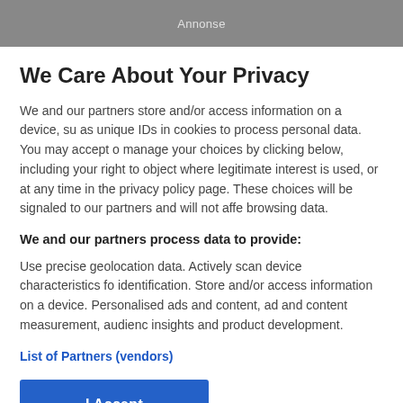Annonse
We Care About Your Privacy
We and our partners store and/or access information on a device, su as unique IDs in cookies to process personal data. You may accept o manage your choices by clicking below, including your right to object where legitimate interest is used, or at any time in the privacy policy page. These choices will be signaled to our partners and will not affe browsing data.
We and our partners process data to provide:
Use precise geolocation data. Actively scan device characteristics fo identification. Store and/or access information on a device. Personalised ads and content, ad and content measurement, audienc insights and product development.
List of Partners (vendors)
I Accept